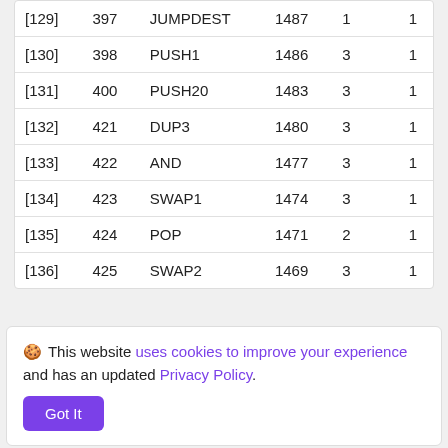| [129] | 397 | JUMPDEST | 1487 | 1 | 1 |
| [130] | 398 | PUSH1 | 1486 | 3 | 1 |
| [131] | 400 | PUSH20 | 1483 | 3 | 1 |
| [132] | 421 | DUP3 | 1480 | 3 | 1 |
| [133] | 422 | AND | 1477 | 3 | 1 |
| [134] | 423 | SWAP1 | 1474 | 3 | 1 |
| [135] | 424 | POP | 1471 | 2 | 1 |
| [136] | 425 | SWAP2 | 1469 | 3 | 1 |
🍪 This website uses cookies to improve your experience and has an updated Privacy Policy.